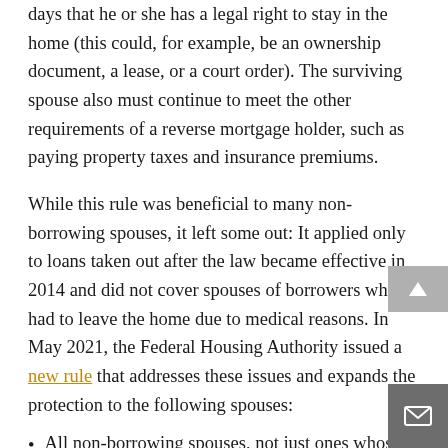days that he or she has a legal right to stay in the home (this could, for example, be an ownership document, a lease, or a court order). The surviving spouse also must continue to meet the other requirements of a reverse mortgage holder, such as paying property taxes and insurance premiums.
While this rule was beneficial to many non-borrowing spouses, it left some out: It applied only to loans taken out after the law became effective in 2014 and did not cover spouses of borrowers who had to leave the home due to medical reasons. In May 2021, the Federal Housing Authority issued a new rule that addresses these issues and expands the protection to the following spouses:
All non-borrowing spouses, not just ones whose